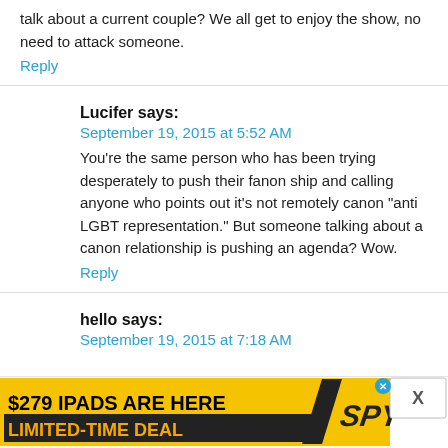talk about a current couple? We all get to enjoy the show, no need to attack someone.
Reply
Lucifer says:
September 19, 2015 at 5:52 AM
You're the same person who has been trying desperately to push their fanon ship and calling anyone who points out it's not remotely canon “anti LGBT representation.” But someone talking about a canon relationship is pushing an agenda? Wow.
Reply
hello says:
September 19, 2015 at 7:18 AM
[Figure (screenshot): $279 IPADS ARE HERE LIMITED-TIME DEAL / SPY advertisement banner]